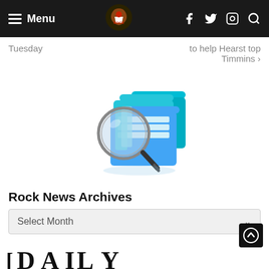Menu [hamburger icon] [Rock logo] [facebook] [twitter] [instagram] [search]
Tuesday
to help Hearst top Timmins >
[Figure (illustration): 3D illustration of blue filing folders with a magnifying glass leaning against them, on a white background]
Rock News Archives
Select Month
[Figure (logo): Partial view of a newspaper logo at the bottom of the page in black serif text]